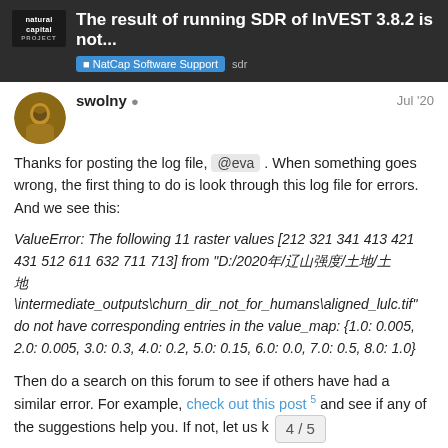The result of running SDR of InVEST 3.8.2 is not... | NatCap Software Support  sdr
swolny  Jul '20
Thanks for posting the log file, @eva . When something goes wrong, the first thing to do is look through this log file for errors. And we see this:
ValueError: The following 11 raster values [212 321 341 413 421 431 512 611 632 711 713] from “D:/2020年/辽宁强度/土地/土
地
\intermediate_outputs\churn_dir_not_for_humans\aligned_lulc.tif" do not have corresponding entries in the value_map: {1.0: 0.005, 2.0: 0.005, 3.0: 0.3, 4.0: 0.2, 5.0: 0.15, 6.0: 0.0, 7.0: 0.5, 8.0: 1.0}
Then do a search on this forum to see if others have had a similar error. For example, check out this post and see if any of the suggestions help you. If not, let us know and we'll be happy to help.